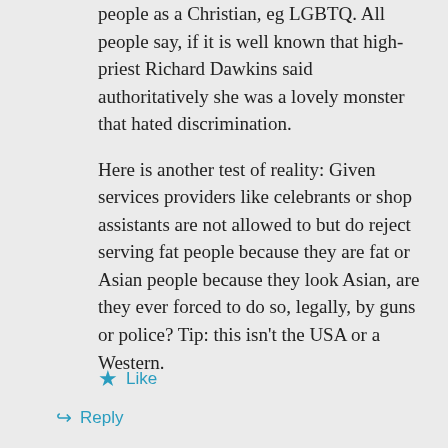people as a Christian, eg LGBTQ. All people say, if it is well known that high-priest Richard Dawkins said authoritatively she was a lovely monster that hated discrimination.
Here is another test of reality: Given services providers like celebrants or shop assistants are not allowed to but do reject serving fat people because they are fat or Asian people because they look Asian, are they ever forced to do so, legally, by guns or police? Tip: this isn't the USA or a Western.
Like
Reply